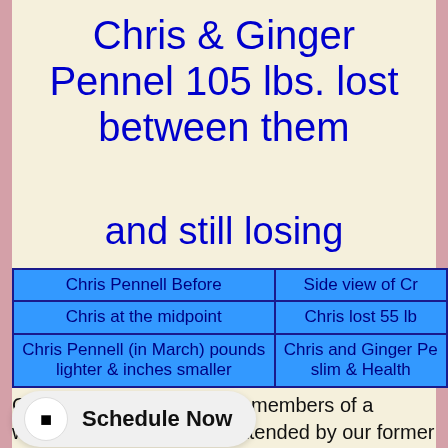Chris & Ginger Pennel 105 lbs. lost between them
and still losing
| Chris Pennell Before | Side view of Cr |
| Chris at the midpoint | Chris lost 55 lb |
| Chris Pennell (in March) pounds lighter & inches smaller | Chris and Ginger Pe slim & Health |
Chris Pennell is one of the members of a weight loss group that is attended by our former students who attended a marathon weekend of training in t los ks. concentrate on their health, life, and well-being